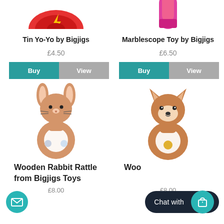[Figure (illustration): Cropped top of a Tin Yo-Yo toy (red with lightning bolt design) — partially visible at top of left column]
[Figure (illustration): Cropped top of a Marblescope Toy (pink/magenta cylindrical toy) — partially visible at top of right column]
Tin Yo-Yo by Bigjigs
Marblescope Toy by Bigjigs
£4.50
£6.50
[Figure (illustration): Wooden rabbit-shaped ring rattle toy from Bigjigs, light brown/peach colour with bunny face, two small beads inside the ring]
[Figure (illustration): Wooden fox-shaped ring rattle toy, light brown colour with fox face, yellow bead inside the ring]
Wooden Rabbit Rattle from Bigjigs Toys
Woo... (Fox rattle product name partially obscured)
£8.00
£8.00
[Figure (screenshot): Chat widget overlay: dark navy pill-shaped button reading 'Chat with' and a teal circle with shopping bag/heart icon]
[Figure (illustration): Teal circular email/envelope icon button at bottom left]